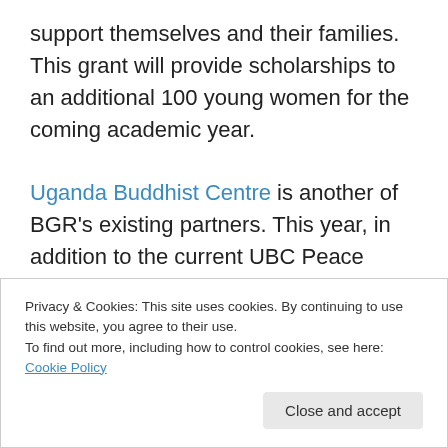support themselves and their families. This grant will provide scholarships to an additional 100 young women for the coming academic year.

Uganda Buddhist Centre is another of BGR's existing partners. This year, in addition to the current UBC Peace School, the organization is introducing a new project to provide hunger relief for orphans in Bulega Village, Entebbe. In this Ugandan village, many children have been orphaned or abandoned due to HIV/AIDS, poverty, conflict-related violence, inadequate healthcare, neglect,
Privacy & Cookies: This site uses cookies. By continuing to use this website, you agree to their use.
To find out more, including how to control cookies, see here: Cookie Policy